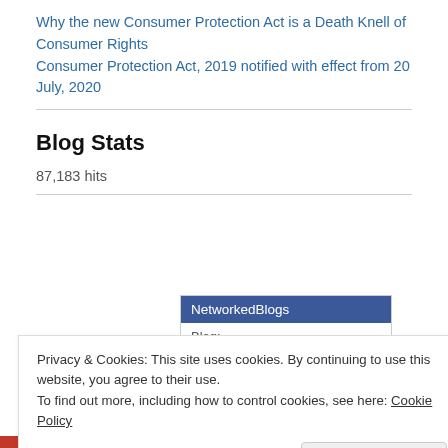Why the new Consumer Protection Act is a Death Knell of Consumer Rights
Consumer Protection Act, 2019 notified with effect from 20 July, 2020
Blog Stats
87,183 hits
[Figure (other): NetworkedBlogs widget showing Blog: Enterprisers]
Privacy & Cookies: This site uses cookies. By continuing to use this website, you agree to their use.
To find out more, including how to control cookies, see here: Cookie Policy
Close and accept